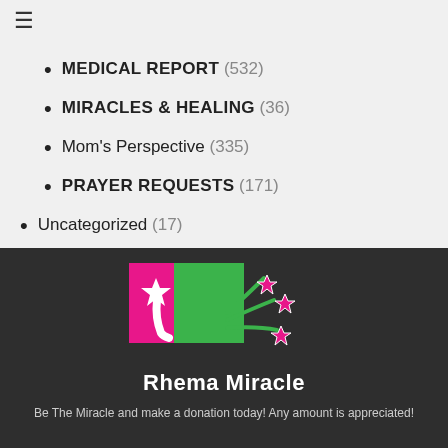MEDICAL REPORT (532)
MIRACLES & HEALING (36)
Mom's Perspective (335)
PRAYER REQUESTS (171)
Uncategorized (17)
VIDEO (54)
[Figure (logo): Rhema Miracle logo with pink and green RM letters and shooting stars]
Be The Miracle and make a donation today! Any amount is appreciated!